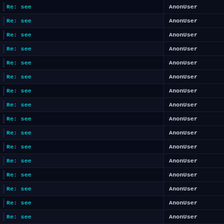Re: see | AnonUser
Re: see | AnonUser
Re: see | AnonUser
Re: see | AnonUser
Re: see | AnonUser
Re: see | AnonUser
Re: see | AnonUser
Re: see | AnonUser
Re: see | AnonUser
Re: see | AnonUser
Re: see | AnonUser
Re: see | AnonUser
Re: see | AnonUser
Re: see | AnonUser
Re: see | AnonUser
Re: see | AnonUser